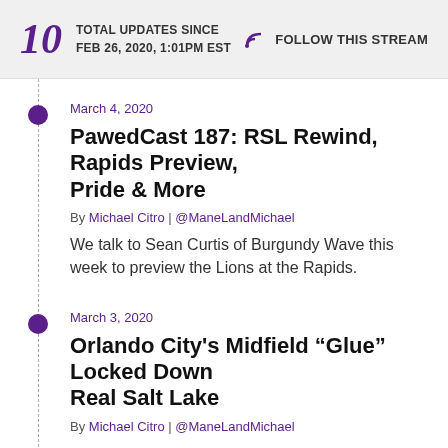10 TOTAL UPDATES SINCE FEB 26, 2020, 1:01PM EST | FOLLOW THIS STREAM
March 4, 2020
PawedCast 187: RSL Rewind, Rapids Preview, Pride & More
By Michael Citro | @ManeLandMichael
We talk to Sean Curtis of Burgundy Wave this week to preview the Lions at the Rapids.
March 3, 2020
Orlando City's Midfield “Glue” Locked Down Real Salt Lake
By Michael Citro | @ManeLandMichael